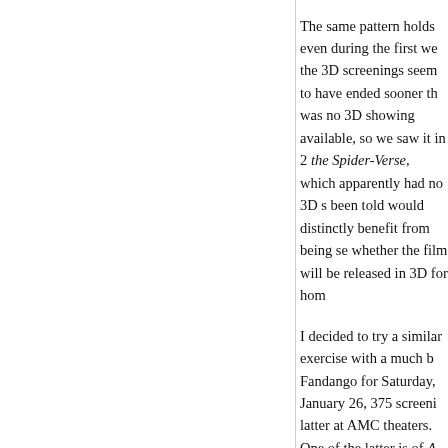The same pattern holds even during the first we the 3D screenings seem to have ended sooner th was no 3D showing available, so we saw it in 2 the Spider-Verse, which apparently had no 3D s been told would distinctly benefit from being se whether the film will be released in 3D for hom
I decided to try a similar exercise with a much b Fandango for Saturday, January 26, 375 screeni latter at AMC theaters. One of the latter is of A screenings were of Aquaman and two of Spider
I realize that awards season is not the ideal time films currently playing in cinemas have Oscar a few times a day to take advantage of that fact. C nominees, that could plausibly have been made Mary Poppins Returns, Glass, Bumblebee, and make a film in 3D, but Glass is the sort of film the same exercise during the summer movie sea 3D screenings proportionately than there are no 2013.